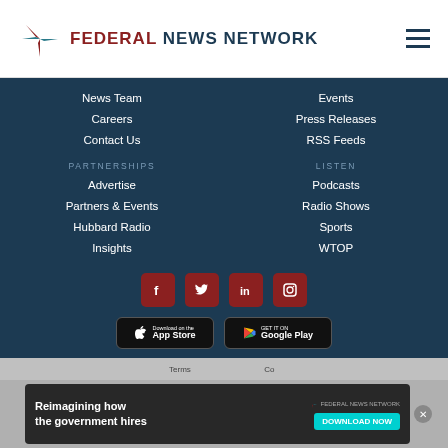[Figure (logo): Federal News Network logo with stylized icon and text]
News Team
Events
Careers
Press Releases
Contact Us
RSS Feeds
PARTNERSHIPS
LISTEN
Advertise
Podcasts
Partners & Events
Radio Shows
Hubbard Radio
Sports
Insights
WTOP
[Figure (illustration): Social media icons: Facebook, Twitter, LinkedIn, Instagram]
[Figure (illustration): App Store and Google Play download buttons]
Terms ... Co...
[Figure (illustration): Advertisement banner: Reimagining how the government hires - Federal News Network - DOWNLOAD NOW]